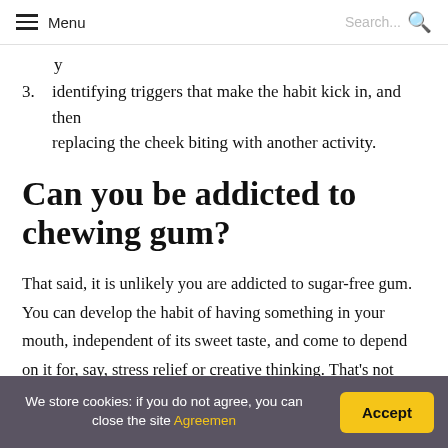Menu  Search...
3.  identifying triggers that make the habit kick in, and then replacing the cheek biting with another activity.
Can you be addicted to chewing gum?
That said, it is unlikely you are addicted to sugar-free gum. You can develop the habit of having something in your mouth, independent of its sweet taste, and come to depend on it for, say, stress relief or creative thinking. That's not addiction. But if you want to stop, try retraining your sweet
We store cookies: if you do not agree, you can close the site Agreemen
Accept